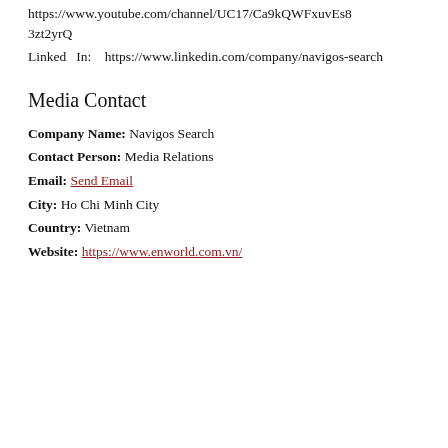https://www.youtube.com/channel/UC17/Ca9kQWFxuvEs83zt2yrQ
Linked In: https://www.linkedin.com/company/navigos-search
Media Contact
Company Name: Navigos Search
Contact Person: Media Relations
Email: Send Email
City: Ho Chi Minh City
Country: Vietnam
Website: https://www.enworld.com.vn/